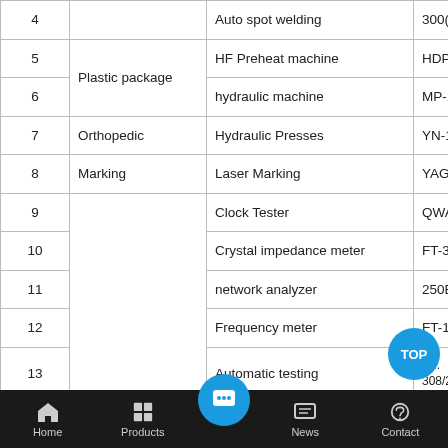| No. | Category | Equipment | Model |
| --- | --- | --- | --- |
| 4 |  | Auto spot welding | 300(ref |
| 5 | Plastic package | HF Preheat machine | HDP-3... |
| 6 | Plastic package | hydraulic machine | MP-12... |
| 7 | Orthopedic | Hydraulic Presses | YN-12 |
| 8 | Marking | Laser Marking | YAG-M |
| 9 |  | Clock Tester | QWA-5 |
| 10 |  | Crystal impedance meter | FT-327 |
| 11 |  | network analyzer | 250B |
| 12 |  | Frequency meter | FT-100 |
| 13 |  | Automatic testing | B...
308/20 |
Home  Products  [chat]  News  Contact